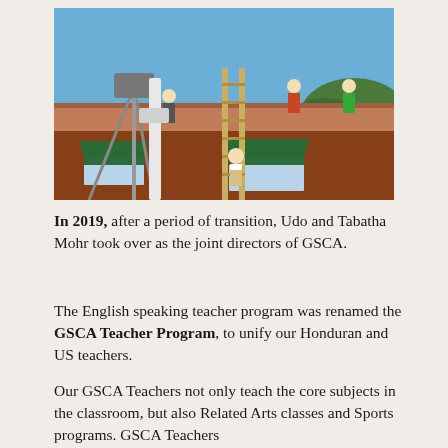[Figure (photo): Workers and volunteers on ladders working on the roof of a red brick building with green awnings, blue sky in background]
In 2019, after a period of transition, Udo and Tabatha Mohr took over as the joint directors of GSCA.
The English speaking teacher program was renamed the GSCA Teacher Program, to unify our Honduran and US teachers.
Our GSCA Teachers not only teach the core subjects in the classroom, but also Related Arts classes and Sports programs. GSCA Teachers